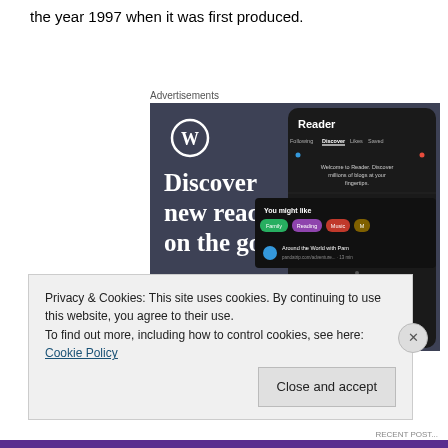the year 1997 when it was first produced.
Advertisements
[Figure (screenshot): WordPress.com advertisement showing 'Discover new reads on the go.' with a phone mockup of the WordPress Reader app displaying Discover tab with suggested blogs and tags like Family, Reading, Music.]
Privacy & Cookies: This site uses cookies. By continuing to use this website, you agree to their use.
To find out more, including how to control cookies, see here: Cookie Policy
Close and accept